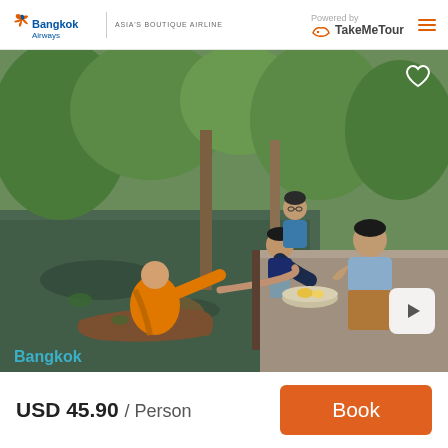Bangkok Airways | Asia's Boutique Airline | Powered by TakeMeTour
[Figure (photo): A Buddhist monk in orange robes sits in a wooden boat on a canal in Bangkok, receiving food offerings from two tourists kneeling on a dock. Green tropical trees are visible in the background.]
Bangkok
USD 45.90 / Person
Book